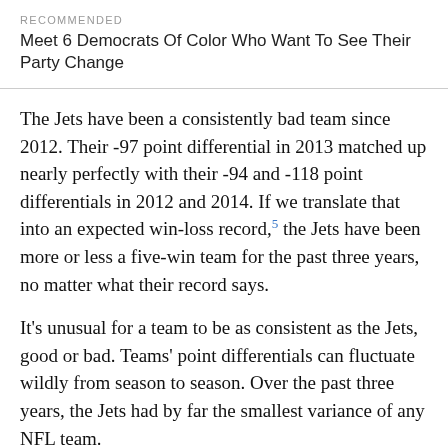RECOMMENDED
Meet 6 Democrats Of Color Who Want To See Their Party Change
The Jets have been a consistently bad team since 2012. Their -97 point differential in 2013 matched up nearly perfectly with their -94 and -118 point differentials in 2012 and 2014. If we translate that into an expected win-loss record,5 the Jets have been more or less a five-win team for the past three years, no matter what their record says.
It’s unusual for a team to be as consistent as the Jets, good or bad. Teams’ point differentials can fluctuate wildly from season to season. Over the past three years, the Jets had by far the smallest variance of any NFL team.
Why have the Jets been so bad? Their offense. The